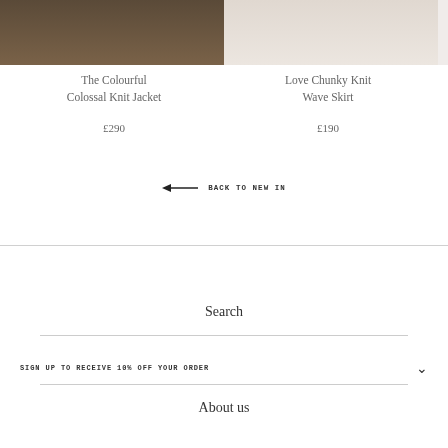[Figure (photo): Bottom portion of two product photos side by side: left shows dark shoes on wood floor, right shows bare legs on white background]
The Colourful Colossal Knit Jacket
£290
Love Chunky Knit Wave Skirt
£190
← BACK TO NEW IN
Search
SIGN UP TO RECEIVE 10% OFF YOUR ORDER
About us